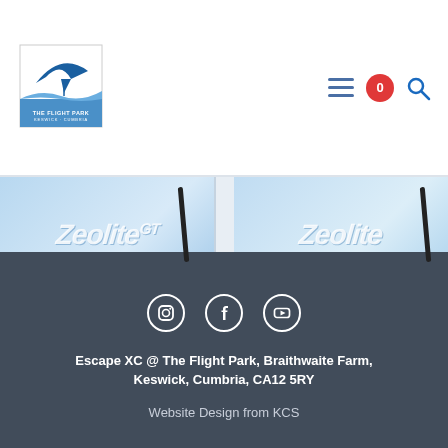[Figure (logo): The Flight Park Keswick Cumbria logo — white square with silhouette of hang glider and blue wave/hill at bottom]
[Figure (illustration): Navigation bar icons: hamburger menu (3 lines), cart badge with 0, search magnifier]
[Figure (photo): Product strip showing two kite/glider product images with 'Zeolite' text labels and kite bar handles on light blue background]
Escape XC @ The Flight Park, Braithwaite Farm, Keswick, Cumbria, CA12 5RY
Website Design from KCS